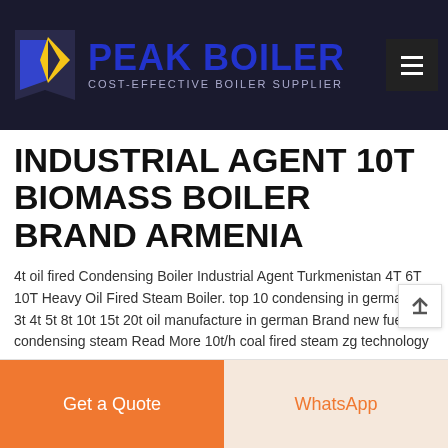[Figure (logo): Peak Boiler logo with blue flame icon and text 'PEAK BOILER - COST-EFFECTIVE BOILER SUPPLIER' on dark background header]
INDUSTRIAL AGENT 10T BIOMASS BOILER BRAND ARMENIA
4t oil fired Condensing Boiler Industrial Agent Turkmenistan 4T 6T 10T Heavy Oil Fired Steam Boiler. top 10 condensing in germany 2t 3t 4t 5t 8t 10t 15t 20t oil manufacture in german Brand new fuel condensing steam Read More 10t/h coal fired steam zg technology
learn More
Get a Quote
WhatsApp